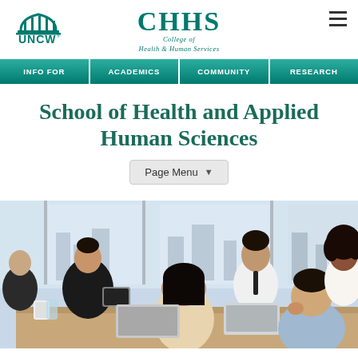[Figure (logo): UNCW logo - teal building/arch icon with UNCW text]
[Figure (logo): CHHS - College of Health & Human Services logo in teal serif font]
[Figure (logo): Hamburger menu icon (three horizontal lines)]
INFO FOR | ACADEMICS | COMMUNITY | RESEARCH
School of Health and Applied Human Sciences
Page Menu
[Figure (photo): Group of five diverse young professionals/students sitting around a table in a bright office, working together with laptops, having a discussion. One woman in black top on left, man in white dress shirt and tie, woman with curly hair on right in white, two others in foreground.]